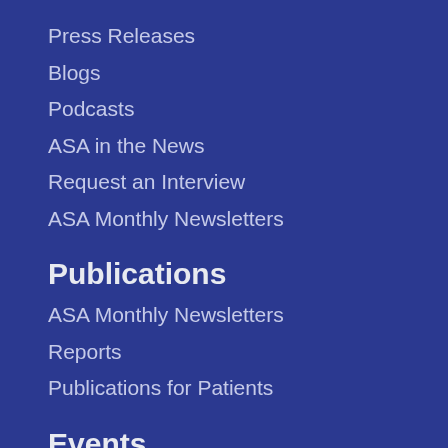Press Releases
Blogs
Podcasts
ASA in the News
Request an Interview
ASA Monthly Newsletters
Publications
ASA Monthly Newsletters
Reports
Publications for Patients
Events
Webinars
ASA Store
Patient Focused Certification